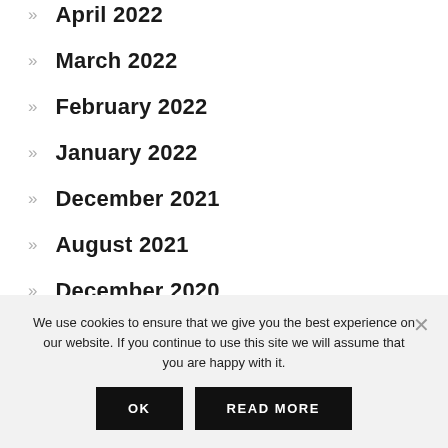April 2022
March 2022
February 2022
January 2022
December 2021
August 2021
December 2020
We use cookies to ensure that we give you the best experience on our website. If you continue to use this site we will assume that you are happy with it.
OK
READ MORE